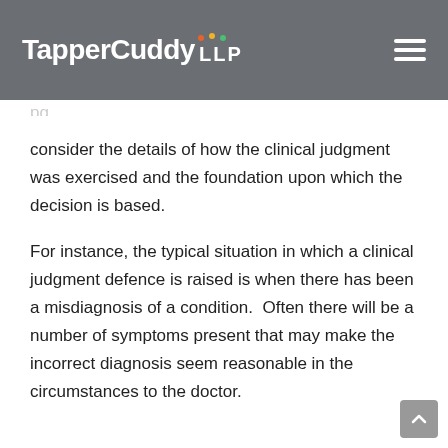TapperCuddy LLP
consider the details of how the clinical judgment was exercised and the foundation upon which the decision is based.
For instance, the typical situation in which a clinical judgment defence is raised is when there has been a misdiagnosis of a condition.  Often there will be a number of symptoms present that may make the incorrect diagnosis seem reasonable in the circumstances to the doctor.